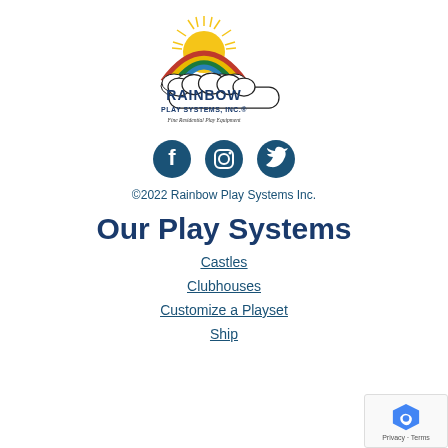[Figure (logo): Rainbow Play Systems, Inc. logo with rainbow, sun, and clouds. Text: RAINBOW PLAY SYSTEMS, INC.® Fine Residential Play Equipment]
[Figure (infographic): Three social media icons: Facebook, Instagram, Twitter — dark teal circular buttons]
©2022 Rainbow Play Systems Inc.
Our Play Systems
Castles
Clubhouses
Customize a Playset
Ship